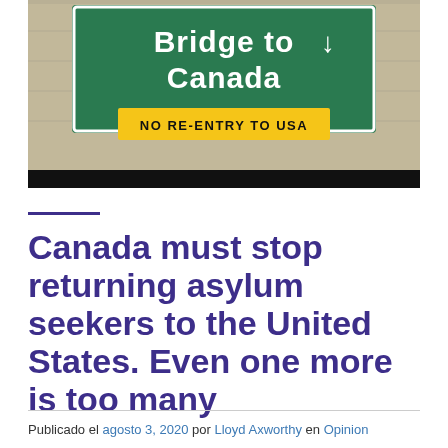[Figure (photo): Road sign reading 'Bridge to Canada' in white text on green background, with a yellow sign below reading 'NO RE-ENTRY TO USA'. Background shows a concrete wall/building facade.]
Canada must stop returning asylum seekers to the United States. Even one more is too many
Publicado el agosto 3, 2020 por Lloyd Axworthy en Opinion